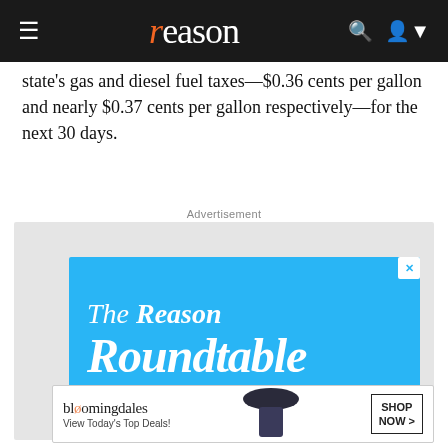reason
state's gas and diesel fuel taxes—$0.36 cents per gallon and nearly $0.37 cents per gallon respectively—for the next 30 days.
Advertisement
[Figure (illustration): The Reason Roundtable advertisement banner — blue background with white serif text reading 'The Reason Roundtable']
[Figure (illustration): Bloomingdale's advertisement — 'View Today's Top Deals!' with a woman in a hat and Shop Now button]
They also are an ... ner break for gas … in many Massachusetts, Maine, Michigan, Minnesota, Iowa, Ne...